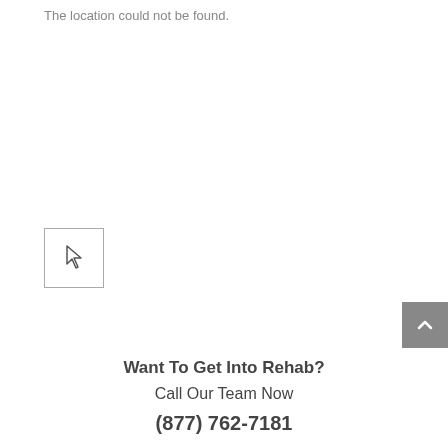The location could not be found.
[Figure (other): Small white rectangle with a cursor/pointer icon inside, bordered with a thin gray outline]
[Figure (other): Gray scroll-to-top button with a white upward chevron arrow, positioned at right edge]
Want To Get Into Rehab?
Call Our Team Now
(877) 762-7181